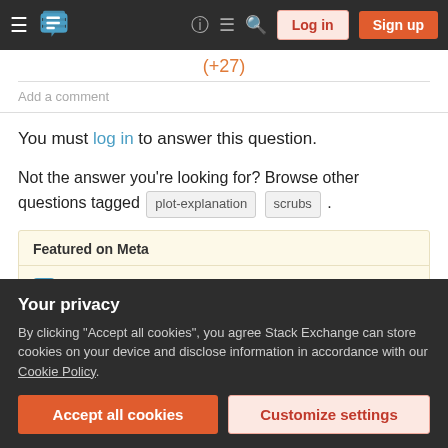Stack Exchange navigation bar with hamburger menu, logo, help, chat, search icons, Log in and Sign up buttons
(partial element cut off at top)
Add a comment
You must log in to answer this question.
Not the answer you're looking for? Browse other questions tagged plot-explanation scrubs .
Featured on Meta
Please welcome Valued Associate #1301 - Emerson
Your privacy
By clicking "Accept all cookies", you agree Stack Exchange can store cookies on your device and disclose information in accordance with our Cookie Policy.
Accept all cookies
Customize settings